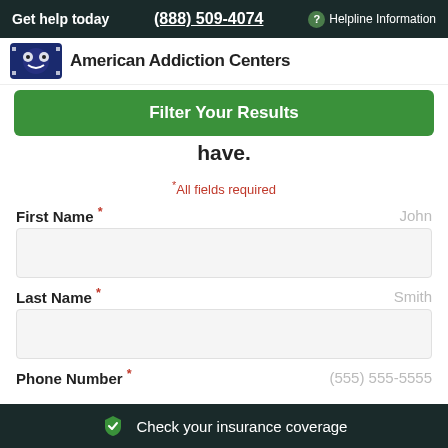Get help today  (888) 509-4074  ? Helpline Information
[Figure (logo): American Addiction Centers logo with circular icon]
Filter Your Results
have.
* All fields required
First Name *  John
Last Name *  Smith
Phone Number *  (555) 555-5555
Check your insurance coverage